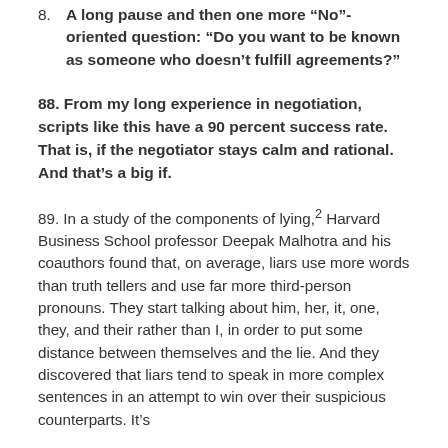8. A long pause and then one more “No”-oriented question: “Do you want to be known as someone who doesn’t fulfill agreements?”
88. From my long experience in negotiation, scripts like this have a 90 percent success rate. That is, if the negotiator stays calm and rational. And that’s a big if.
89. In a study of the components of lying,2 Harvard Business School professor Deepak Malhotra and his coauthors found that, on average, liars use more words than truth tellers and use far more third-person pronouns. They start talking about him, her, it, one, they, and their rather than I, in order to put some distance between themselves and the lie. And they discovered that liars tend to speak in more complex sentences in an attempt to win over their suspicious counterparts. It’s